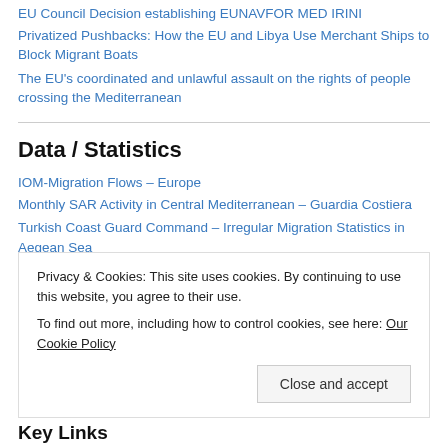EU Council Decision establishing EUNAVFOR MED IRINI
Privatized Pushbacks: How the EU and Libya Use Merchant Ships to Block Migrant Boats
The EU's coordinated and unlawful assault on the rights of people crossing the Mediterranean
Data / Statistics
IOM-Migration Flows – Europe
Monthly SAR Activity in Central Mediterranean – Guardia Costiera
Turkish Coast Guard Command – Irregular Migration Statistics in Aegean Sea
Turkish Coast Guard Command – Irregular Migration Statistics in All
Privacy & Cookies: This site uses cookies. By continuing to use this website, you agree to their use. To find out more, including how to control cookies, see here: Our Cookie Policy
Key Links